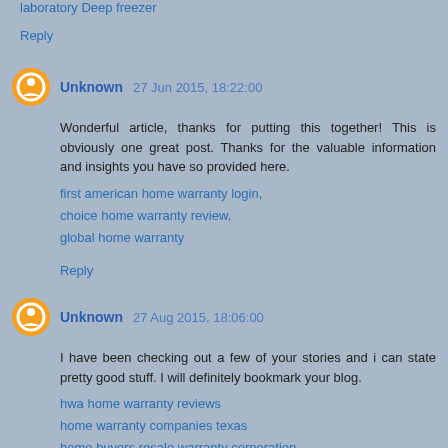laboratory Deep freezer
Reply
Unknown 27 Jun 2015, 18:22:00
Wonderful article, thanks for putting this together! This is obviously one great post. Thanks for the valuable information and insights you have so provided here. first american home warranty login, choice home warranty review, global home warranty
Reply
Unknown 27 Aug 2015, 18:06:00
I have been checking out a few of your stories and i can state pretty good stuff. I will definitely bookmark your blog. hwa home warranty reviews home warranty companies texas home buyers resale warranty corporation